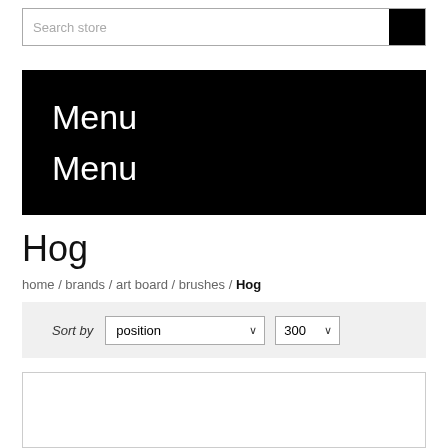Search store
Menu
Menu
Hog
home / brands / art board / brushes / Hog
Sort by  position  300
[Figure (other): Empty white product listing area with border]